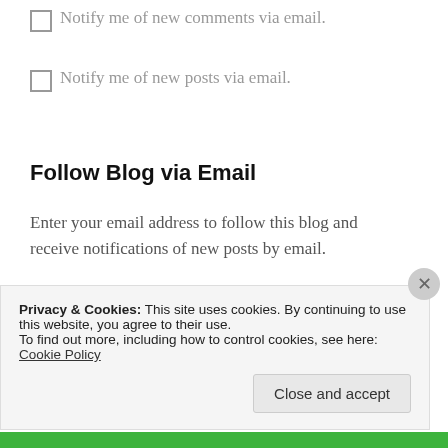Notify me of new comments via email.
Notify me of new posts via email.
Follow Blog via Email
Enter your email address to follow this blog and receive notifications of new posts by email.
Enter your email address
Follow
Privacy & Cookies: This site uses cookies. By continuing to use this website, you agree to their use.
To find out more, including how to control cookies, see here: Cookie Policy
Close and accept